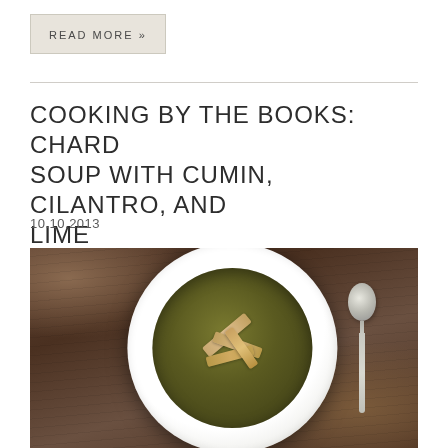READ MORE »
COOKING BY THE BOOKS: CHARD SOUP WITH CUMIN, CILANTRO, AND LIME
10.10.2013
[Figure (photo): Overhead view of a white bowl of dark green chard soup with tortilla strips on a dark wooden table, with a silver spoon to the right]